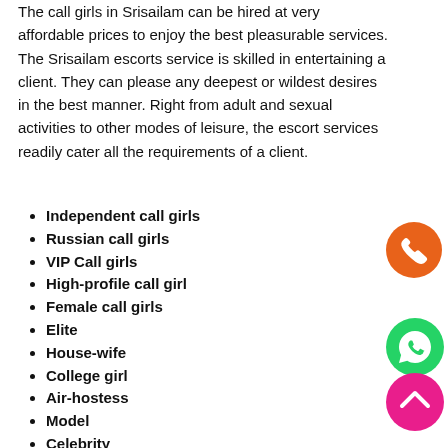The call girls in Srisailam can be hired at very affordable prices to enjoy the best pleasurable services. The Srisailam escorts service is skilled in entertaining a client. They can please any deepest or wildest desires in the best manner. Right from adult and sexual activities to other modes of leisure, the escort services readily cater all the requirements of a client.
Independent call girls
Russian call girls
VIP Call girls
High-profile call girl
Female call girls
Elite
House-wife
College girl
Air-hostess
Model
Celebrity
Actresses
Foreign girls
Sexy Bhabhi
Sexy Aunty
[Figure (illustration): Orange circle button with white phone handset icon]
[Figure (illustration): Green circle button with white WhatsApp phone icon]
[Figure (illustration): Pink/magenta circle button with white upward chevron arrow icon]